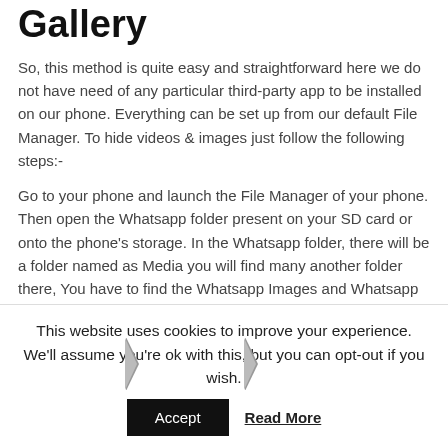Gallery
So, this method is quite easy and straightforward here we do not have need of any particular third-party app to be installed on our phone. Everything can be set up from our default File Manager. To hide videos & images just follow the following steps:-
Go to your phone and launch the File Manager of your phone. Then open the Whatsapp folder present on your SD card or onto the phone's storage. In the Whatsapp folder, there will be a folder named as Media you will find many another folder there, You have to find the Whatsapp Images and Whatsapp Videos folder there.
[Figure (screenshot): Breadcrumb navigation showing: Phone Stor > WhatsApp > Media with a black border box]
[Figure (screenshot): WhatsApp Audio folder icon with gold/yellow circle icon and bold label 'WhatsApp Audio']
This website uses cookies to improve your experience. We'll assume you're ok with this, but you can opt-out if you wish.
Accept  Read More